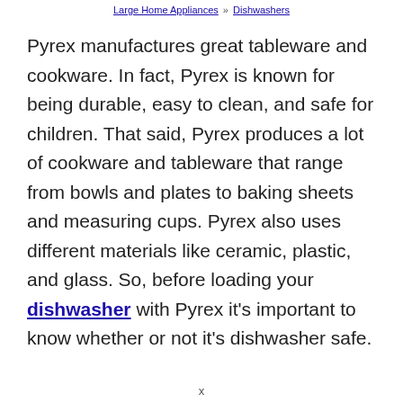Large Home Appliances » Dishwashers
Pyrex manufactures great tableware and cookware. In fact, Pyrex is known for being durable, easy to clean, and safe for children. That said, Pyrex produces a lot of cookware and tableware that range from bowls and plates to baking sheets and measuring cups. Pyrex also uses different materials like ceramic, plastic, and glass. So, before loading your dishwasher with Pyrex it's important to know whether or not it's dishwasher safe.
x